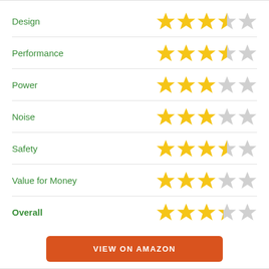Design — 3.5 out of 5 stars
Performance — 3.5 out of 5 stars
Power — 3 out of 5 stars
Noise — 3 out of 5 stars
Safety — 3.5 out of 5 stars
Value for Money — 3 out of 5 stars
Overall — 3.5 out of 5 stars
VIEW ON AMAZON